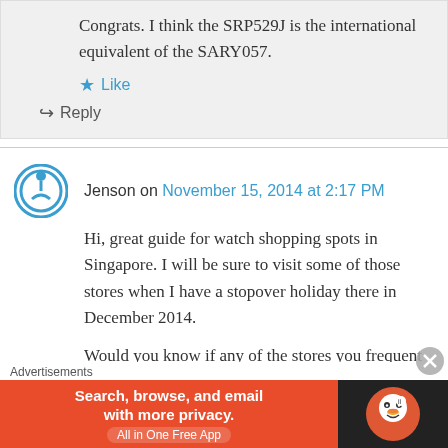Congrats. I think the SRP529J is the international equivalent of the SARY057.
Like
Reply
Jenson on November 15, 2014 at 2:17 PM
Hi, great guide for watch shopping spots in Singapore. I will be sure to visit some of those stores when I have a stopover holiday there in December 2014.

Would you know if any of the stores you frequent
Advertisements
[Figure (screenshot): DuckDuckGo advertisement banner: orange background with text 'Search, browse, and email with more privacy. All in One Free App' and DuckDuckGo logo on dark background]